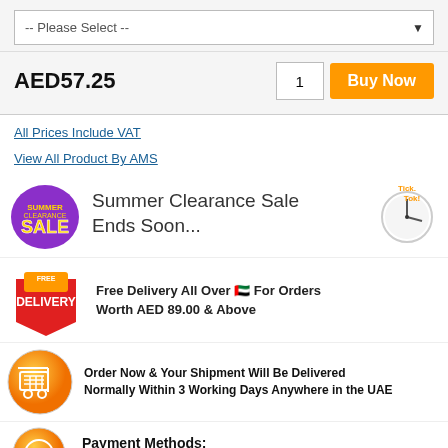[Figure (screenshot): Dropdown selector with placeholder text '-- Please Select --']
AED57.25
1
Buy Now
All Prices Include VAT
View All Product By AMS
[Figure (infographic): Summer Clearance Sale badge with SALE text and Tick-Tock clock graphic, text: Summer Clearance Sale Ends Soon...]
[Figure (infographic): Free Delivery badge with text: Free Delivery All Over [UAE flag] For Orders Worth AED 89.00 & Above]
[Figure (infographic): Orange shopping cart icon with text: Order Now & Your Shipment Will Be Delivered Normally Within 3 Working Days Anywhere in the UAE]
Payment Methods: